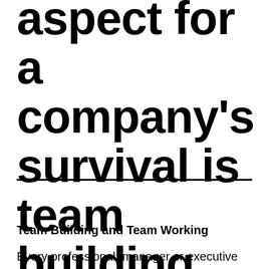aspect for a company's survival is team building
Team Building and Team Working
Every professional, manager or executive